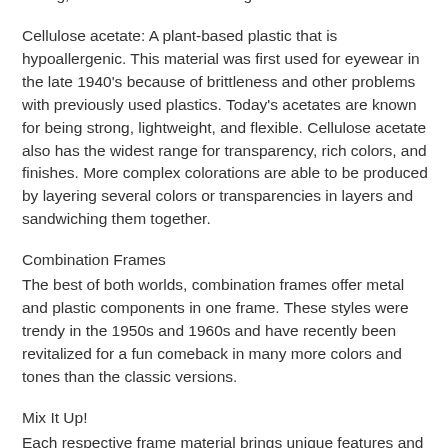more resilient nylon blends, such as polyamides, gliamides and copolyamides. While 100% nylon is lightweight and strong, it tends to weaken with age and become brittle.
Cellulose acetate: A plant-based plastic that is hypoallergenic. This material was first used for eyewear in the late 1940's because of brittleness and other problems with previously used plastics. Today's acetates are known for being strong, lightweight, and flexible. Cellulose acetate also has the widest range for transparency, rich colors, and finishes. More complex colorations are able to be produced by layering several colors or transparencies in layers and sandwiching them together.
Combination Frames
The best of both worlds, combination frames offer metal and plastic components in one frame. These styles were trendy in the 1950s and 1960s and have recently been revitalized for a fun comeback in many more colors and tones than the classic versions.
Mix It Up!
Each respective frame material brings unique features and